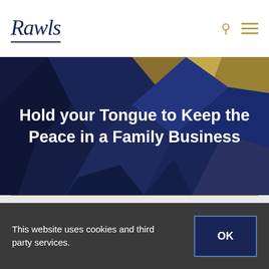Rawls
Hold your Tongue to Keep the Peace in a Family Business
< Previous   Next >
This website uses cookies and third party services. OK